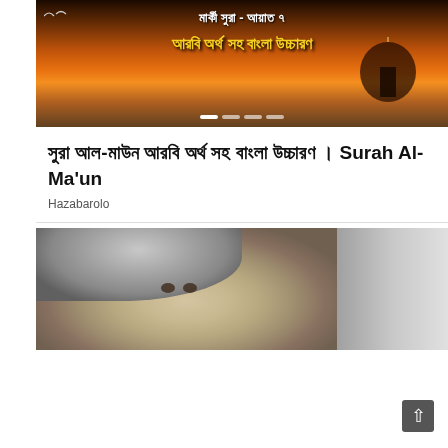[Figure (screenshot): Video thumbnail showing a mosque dome silhouette against a sunset sky with Bengali text: মার্কী সুরা - আয়াত ৭ and আরবি অর্থ সহ বাংলা উচ্চারণ in yellow and white bold text, with slider dots at the bottom]
সুরা আল-মাউন আরবি অর্থ সহ বাংলা উচ্চারণ । Surah Al-Ma'un
Hazabarolo
[Figure (photo): Close-up photo of a woman with gray hair, showing her face and eyes, partially cropped, with a man in a suit visible on the right edge. Has a close/dismiss X button on the bottom left.]